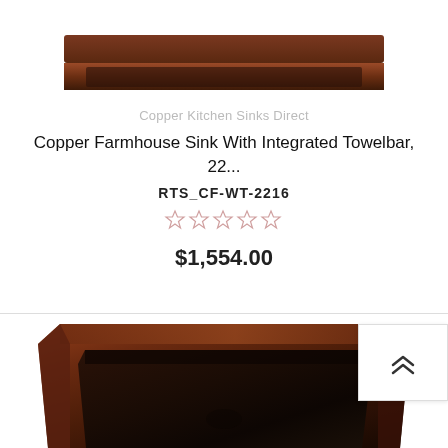[Figure (photo): Top portion of a copper farmhouse kitchen sink with integrated towel bar, shown from above, partial crop at the top of the card]
Copper Kitchen Sinks Direct
Copper Farmhouse Sink With Integrated Towelbar, 22...
RTS_CF-WT-2216
[Figure (other): 5 empty star rating icons (0 out of 5 stars)]
$1,554.00
[Figure (photo): Copper farmhouse kitchen sink viewed from above/front at an angle, showing deep rectangular basin with dark patina finish]
[Figure (other): Back to top button with double chevron up arrow]